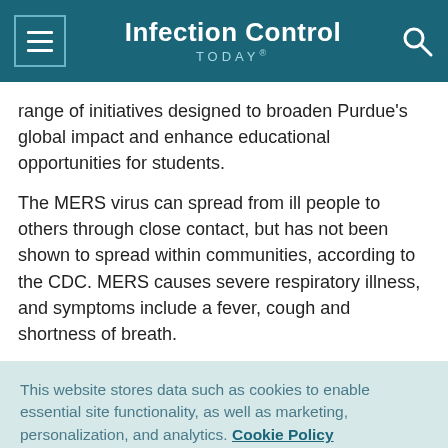Infection Control TODAY®
range of initiatives designed to broaden Purdue's global impact and enhance educational opportunities for students.
The MERS virus can spread from ill people to others through close contact, but has not been shown to spread within communities, according to the CDC. MERS causes severe respiratory illness, and symptoms include a fever, cough and shortness of breath.
This website stores data such as cookies to enable essential site functionality, as well as marketing, personalization, and analytics. Cookie Policy
Accept
Deny